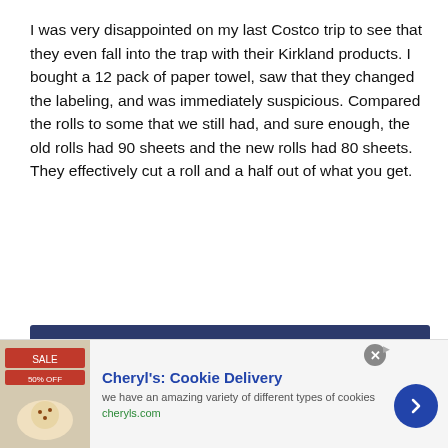I was very disappointed on my last Costco trip to see that they even fall into the trap with their Kirkland products. I bought a 12 pack of paper towel, saw that they changed the labeling, and was immediately suspicious. Compared the rolls to some that we still had, and sure enough, the old rolls had 90 sheets and the new rolls had 80 sheets. They effectively cut a roll and a half out of what you get.
[Figure (other): Comment block with dark blue background showing avatar with letter L in green square, commenter name 'Len Penzo says', a green badge with number 2, and partial preview text at bottom]
[Figure (other): Advertisement bar for Cheryl's Cookie Delivery with cookie image, title, description text 'we have an amazing variety of different types of cookies', URL cheryls.com, close button, AdChoices icon, and blue circular arrow button]